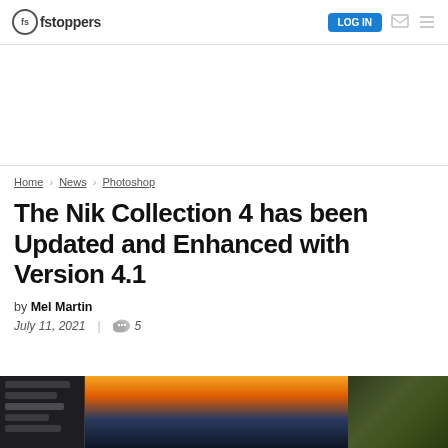fstoppers — LOG IN
Home > News > Photoshop
The Nik Collection 4 has been Updated and Enhanced with Version 4.1
by Mel Martin
July 11, 2021 | 5
[Figure (screenshot): Screenshot of Nik Collection software interface showing a sunset landscape photo with dark editing panels on left and right sides.]